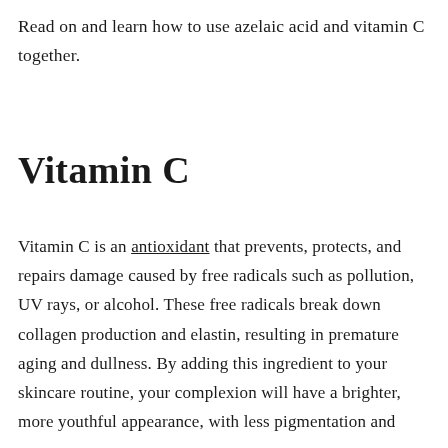Read on and learn how to use azelaic acid and vitamin C together.
Vitamin C
Vitamin C is an antioxidant that prevents, protects, and repairs damage caused by free radicals such as pollution, UV rays, or alcohol. These free radicals break down collagen production and elastin, resulting in premature aging and dullness. By adding this ingredient to your skincare routine, your complexion will have a brighter, more youthful appearance, with less pigmentation and